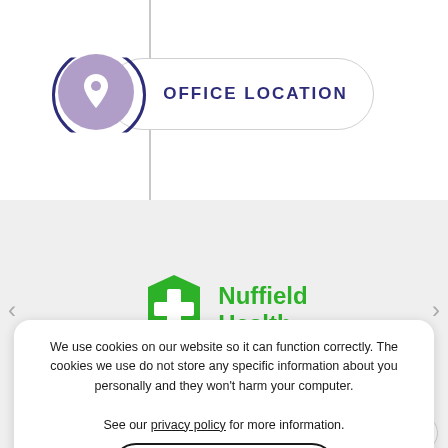[Figure (infographic): Office location pill/badge with a purple location pin icon inside a dark navy circular border, and a pill-shaped button reading OFFICE LOCATION]
[Figure (logo): Nuffield Health logo — green shield with white cross and green text 'Nuffield Health']
We use cookies on our website so it can function correctly. The cookies we use do not store any specific information about you personally and they won't harm your computer.

See our privacy policy for more information.
Accept
MENU LINKS
> Home